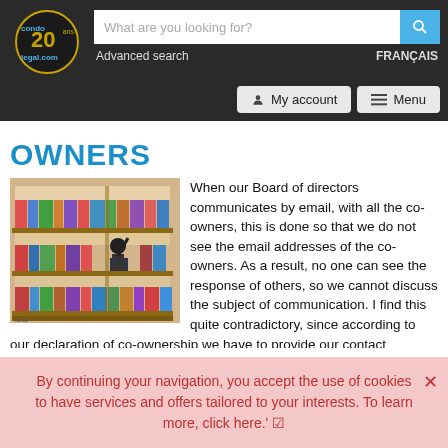[Figure (screenshot): condolegal.com website header with logo, search bar, Advanced search link, FRANÇAIS link, My account button, and Menu button]
OWNERS
[Figure (illustration): Cartoon illustration of a person browsing a large bookshelf filled with colorful labeled folders and binders]
When our Board of directors communicates by email, with all the co-owners, this is done so that we do not see the email addresses of the co-owners. As a result, no one can see the response of others, so we cannot discuss the subject of communication. I find this quite contradictory, since according to our declaration of co-ownership we have to provide our contact information and our email address to the board of directors. In addition, it is indicated that the register contains the email address
By continuing your navigation, you accept the use of cookies to have services and offers tailored to your interests. To learn more, click here.'